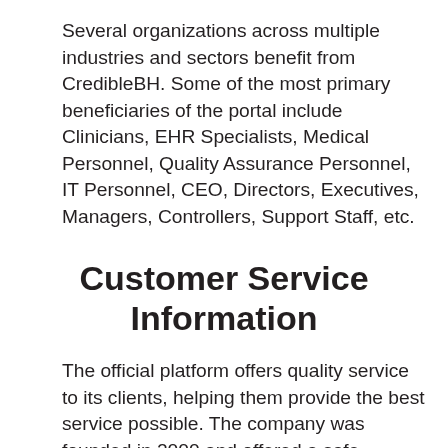Several organizations across multiple industries and sectors benefit from CredibleBH. Some of the most primary beneficiaries of the portal include Clinicians, EHR Specialists, Medical Personnel, Quality Assurance Personnel, IT Personnel, CEO, Directors, Executives, Managers, Controllers, Support Staff, etc.
Customer Service Information
The official platform offers quality service to its clients, helping them provide the best service possible. The company was founded in 2000 and offered a safe, simple, and automatic electronic health record system